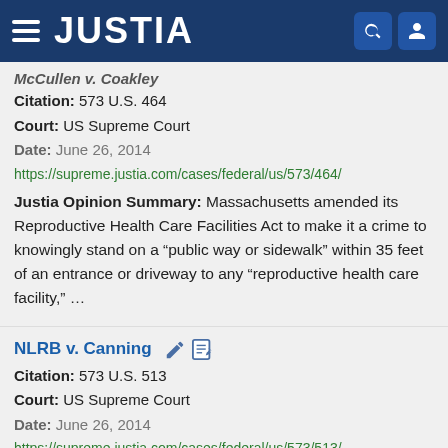JUSTIA
McCullen v. Coakley (partial title)
Citation: 573 U.S. 464
Court: US Supreme Court
Date: June 26, 2014
https://supreme.justia.com/cases/federal/us/573/464/
Justia Opinion Summary: Massachusetts amended its Reproductive Health Care Facilities Act to make it a crime to knowingly stand on a “public way or sidewalk” within 35 feet of an entrance or driveway to any “reproductive health care facility,” …
NLRB v. Canning
Citation: 573 U.S. 513
Court: US Supreme Court
Date: June 26, 2014
https://supreme.justia.com/cases/federal/us/573/513/